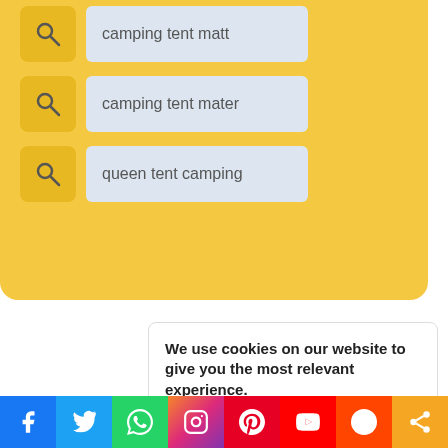[Figure (screenshot): Yellow search suggestions box with 3 rows: 'camping tent mattri', 'camping tent mater', 'queen tent camping', each with a yellow search icon button on the left and a blue-gray text pill on the right]
We use cookies on our website to give you the most relevant experience.
Cookie Settings | Accept All
[Figure (infographic): Social media share bar with Facebook, Twitter, WhatsApp, Instagram, Pinterest, YouTube, Reddit, and a share icon button]